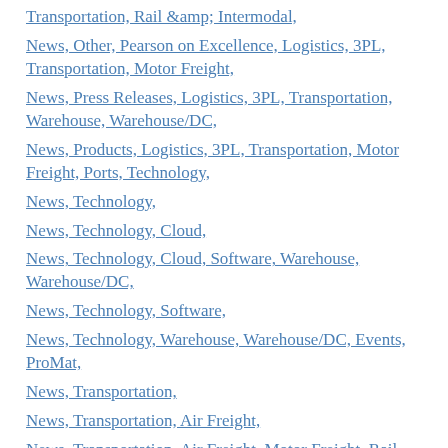Transportation, Rail &amp; Intermodal,
News, Other, Pearson on Excellence, Logistics, 3PL, Transportation, Motor Freight,
News, Press Releases, Logistics, 3PL, Transportation, Warehouse, Warehouse/DC,
News, Products, Logistics, 3PL, Transportation, Motor Freight, Ports, Technology,
News, Technology,
News, Technology, Cloud,
News, Technology, Cloud, Software, Warehouse, Warehouse/DC,
News, Technology, Software,
News, Technology, Warehouse, Warehouse/DC, Events, ProMat,
News, Transportation,
News, Transportation, Air Freight,
News, Transportation, Air Freight, Motor Freight, Rail